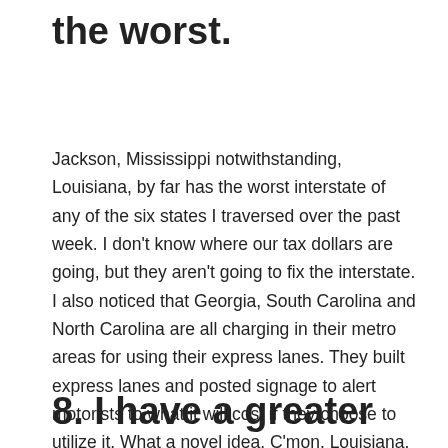the worst.
Jackson, Mississippi notwithstanding, Louisiana, by far has the worst interstate of any of the six states I traversed over the past week. I don't know where our tax dollars are going, but they aren't going to fix the interstate. I also noticed that Georgia, South Carolina and North Carolina are all charging in their metro areas for using their express lanes. They built express lanes and posted signage to alert motorists to what it will cost if they choose to utilize it. What a novel idea. C'mon, Louisiana. We can do better. We should demand better.
8. I have a greater